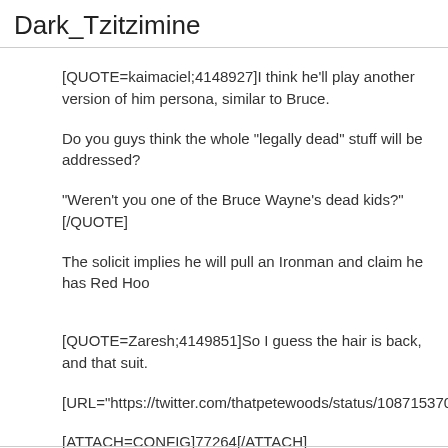Dark_Tzitzimine
[QUOTE=kaimaciel;4148927]I think he'll play another version of him persona, similar to Bruce.
Do you guys think the whole "legally dead" stuff will be addressed?
"Weren't you one of the Bruce Wayne's dead kids?"[/QUOTE]
The solicit implies he will pull an Ironman and claim he has Red Hoo
[QUOTE=Zaresh;4149851]So I guess the hair is back, and that suit.
[URL="https://twitter.com/thatpetewoods/status/10871537023752848
[ATTACH=CONFIG]77264[/ATTACH]
Sweet.[/QUOTE]
He looks downright villainous.